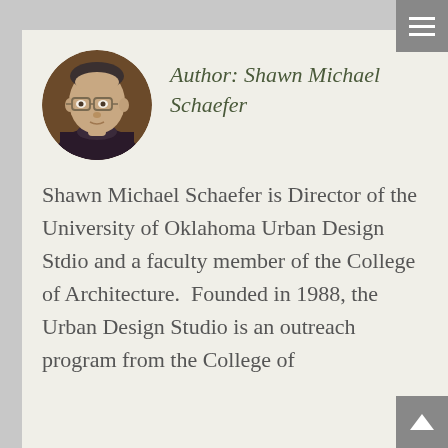[Figure (photo): Circular portrait photo of Shawn Michael Schaefer, a middle-aged man with glasses and short dark hair, wearing a dark turtleneck, against a warm brown background.]
Author: Shawn Michael Schaefer
Shawn Michael Schaefer is Director of the University of Oklahoma Urban Design Stdio and a faculty member of the College of Architecture. Founded in 1988, the Urban Design Studio is an outreach program from the College of